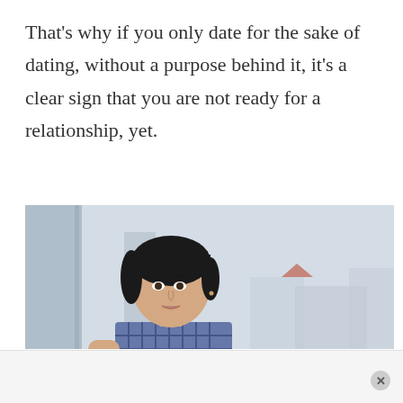That's why if you only date for the sake of dating, without a purpose behind it, it's a clear sign that you are not ready for a relationship, yet.
[Figure (photo): A young woman with dark hair wearing a checkered/plaid top, seated and looking pensively to the side near a balcony or outdoor area with blurred urban background.]